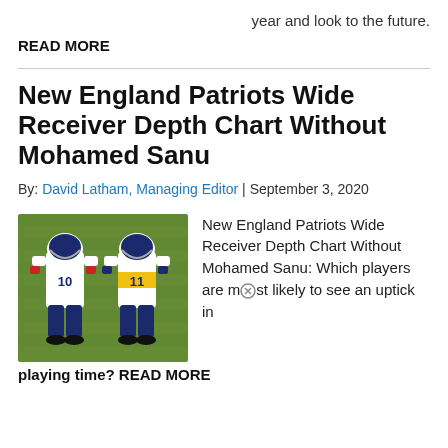year and look to the future.
READ MORE
New England Patriots Wide Receiver Depth Chart Without Mohamed Sanu
By: David Latham, Managing Editor | September 3, 2020
[Figure (photo): Two New England Patriots wide receivers wearing jerseys number 10 and 11 standing on a field during practice]
New England Patriots Wide Receiver Depth Chart Without Mohamed Sanu: Which players are most likely to see an uptick in playing time? READ MORE